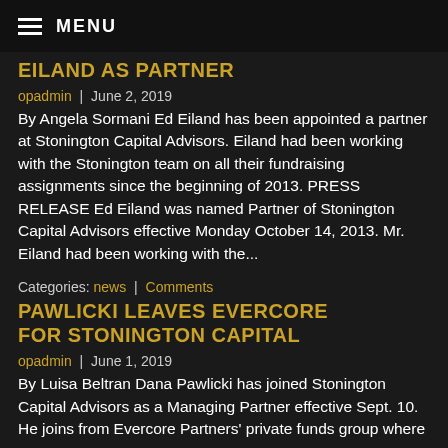MENU
EILAND AS PARTNER
opadmin  |  June 2, 2019
By Angela Sormani Ed Eiland has been appointed a partner at Stonington Capital Advisors. Eiland had been working with the Stonington team on all their fundraising assignments since the beginning of 2013. PRESS RELEASE Ed Eiland was named Partner of Stonington Capital Advisors effective Monday October 14, 2013. Mr. Eiland had been working with the...
Categories: news | Comments
PAWLICKI LEAVES EVERCORE FOR STONINGTON CAPITAL
opadmin  |  June 1, 2019
By Luisa Beltran Dana Pawlicki has joined Stonington Capital Advisors as a Managing Partner effective Sept. 10. He joins from Evercore Partners' private funds group where